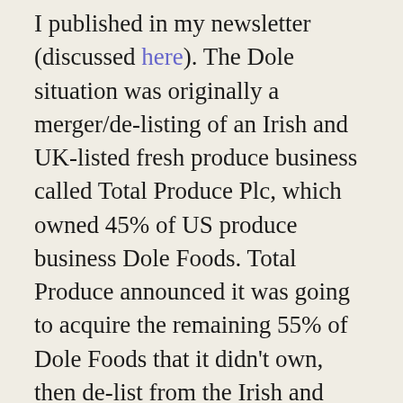I published in my newsletter (discussed here). The Dole situation was originally a merger/de-listing of an Irish and UK-listed fresh produce business called Total Produce Plc, which owned 45% of US produce business Dole Foods. Total Produce announced it was going to acquire the remaining 55% of Dole Foods that it didn't own, then de-list from the Irish and London exchanges, and then IPO the newly merged business on the NYSE.
Total Produce was a small-cap with maybe 3 analysts covering it, while Dole Foods was privately held. This merger would create the largest fresh produce business globally (2x larger than its closest competitor) while the NYSE listing would provide much greater